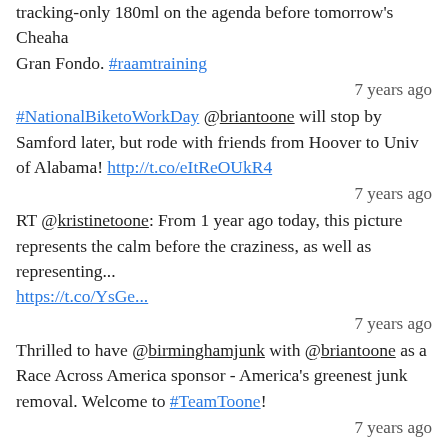tracking-only 180ml on the agenda before tomorrow's Cheaha Gran Fondo. #raamtraining
7 years ago
#NationalBiketoWorkDay @briantoone will stop by Samford later, but rode with friends from Hoover to Univ of Alabama! http://t.co/eItReOUkR4
7 years ago
RT @kristinetoone: From 1 year ago today, this picture represents the calm before the craziness, as well as representing... https://t.co/YsGe...
7 years ago
Thrilled to have @birminghamjunk with @briantoone as a Race Across America sponsor - America's greenest junk removal. Welcome to #TeamToone!
7 years ago
[Figure (other): Follow @ToonesFanClub button (Twitter/X blue button)]
RECENT COMMENTS